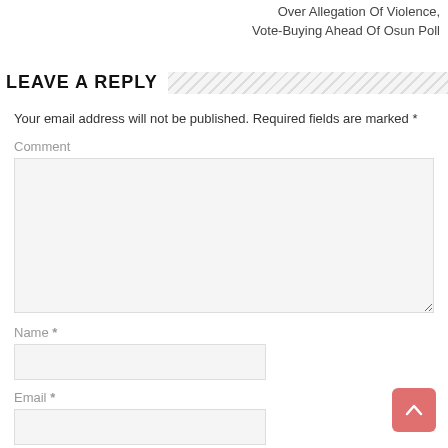Over Allegation Of Violence, Vote-Buying Ahead Of Osun Poll
LEAVE A REPLY
Your email address will not be published. Required fields are marked *
Comment
Name *
Email *
Website